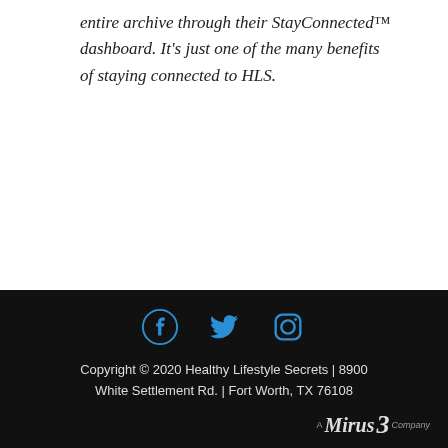entire archive through their StayConnected™ dashboard. It's just one of the many benefits of staying connected to HLS.
Copyright © 2020 Healthy Lifestyle Secrets | 8900 White Settlement Rd. | Fort Worth, TX 76108